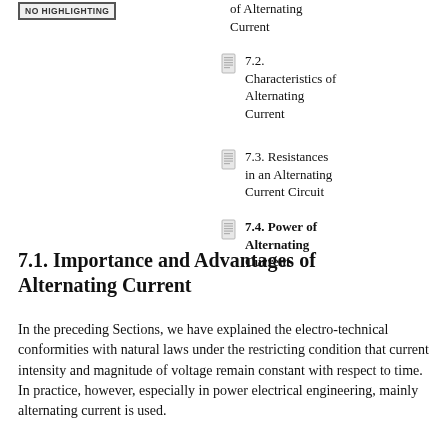7.2. Characteristics of Alternating Current
7.3. Resistances in an Alternating Current Circuit
7.4. Power of Alternating Current
7.1. Importance and Advantages of Alternating Current
In the preceding Sections, we have explained the electro-technical conformities with natural laws under the restricting condition that current intensity and magnitude of voltage remain constant with respect to time. In practice, however, especially in power electrical engineering, mainly alternating current is used.